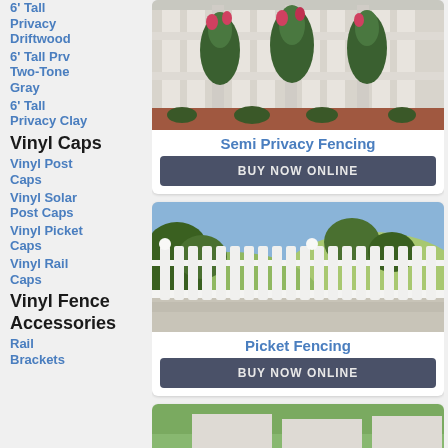6' Tall Privacy Driftwood
6' Tall Prv Two-Tone Gray
6' Tall Privacy Clay
Vinyl Caps
Vinyl Post Caps
Vinyl Solar Post Caps
Vinyl Picket Caps
Vinyl Rail Caps
Vinyl Fence Accessories
Rail Brackets
[Figure (photo): White semi-privacy vinyl fence with climbing rose vines and flowering plants along a brick pathway]
Semi Privacy Fencing
BUY NOW ONLINE
[Figure (photo): White picket vinyl fence along a concrete walkway with trees and hills in the background]
Picket Fencing
BUY NOW ONLINE
[Figure (photo): Third product partial photo visible at bottom of page]